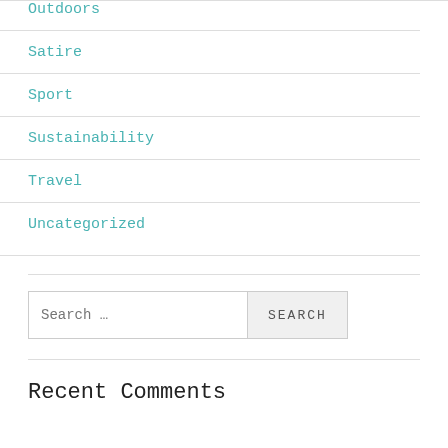Outdoors
Satire
Sport
Sustainability
Travel
Uncategorized
Search …
Recent Comments